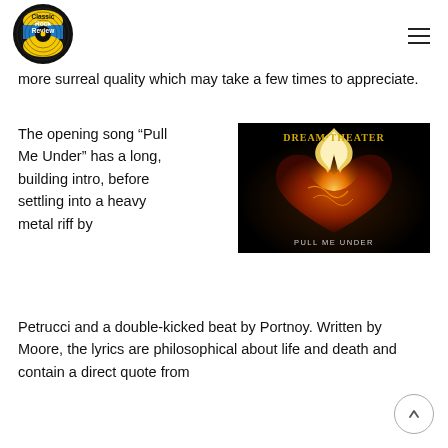Classic Rock Review
more surreal quality which may take a few times to appreciate.
The opening song “Pull Me Under” has a long, building intro, before settling into a heavy metal riff by Petrucci and a double-kicked beat by Portnoy. Written by Moore, the lyrics are philosophical about life and death and contain a direct quote from
[Figure (photo): Dream Theater 'Pull Me Under' single album cover showing a flaming heart with thorns on a dark background, with yellow text reading 'DREAM THEATER' at top and 'PULL ME UNDER' at bottom.]